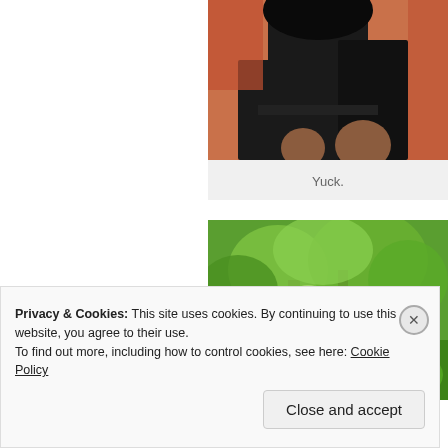[Figure (photo): Partial view of a person sitting, wearing dark clothing, on a reddish/orange background. Image is cropped.]
Yuck.
[Figure (photo): Outdoor scene with lush green trees and foliage, bright daylight.]
Privacy & Cookies: This site uses cookies. By continuing to use this website, you agree to their use.
To find out more, including how to control cookies, see here: Cookie Policy
Close and accept